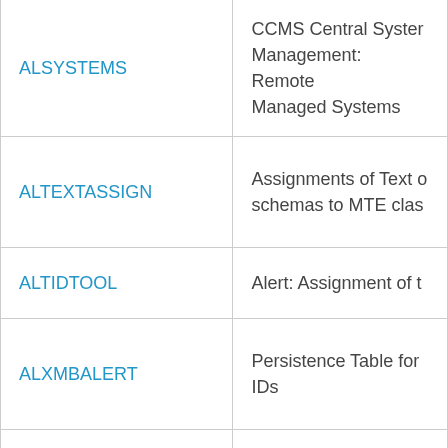| Name | Description |
| --- | --- |
| ALSYSTEMS | CCMS Central System Management: Remote Managed Systems |
| ALTEXTASSIGN | Assignments of Text schemas to MTE classes |
| ALTIDTOOL | Alert: Assignment of t… |
| ALXMBALERT | Persistence Table for IDs |
| ALXMBEMAIL | CCMS: Registration of Recipients for Alerts |